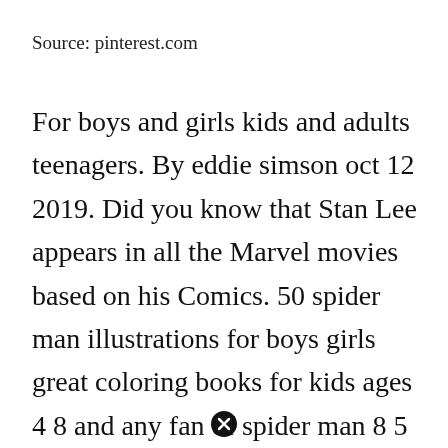Source: pinterest.com
For boys and girls kids and adults teenagers. By eddie simson oct 12 2019. Did you know that Stan Lee appears in all the Marvel movies based on his Comics. 50 spider man illustrations for boys girls great coloring books for kids ages 4 8 and any fan of spider man 8 5 x 11 inches pages. Spiderman Coloring Book Page Spiderman Coloring Coloring Book Art Superhero Sket...